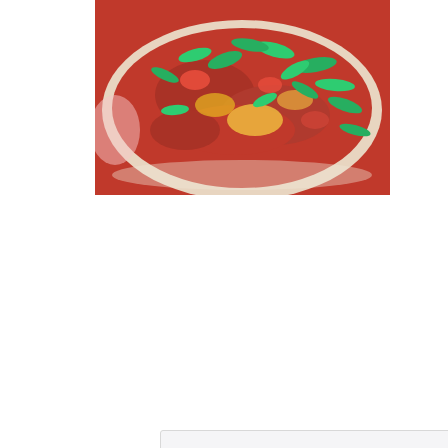[Figure (photo): A plate of chicken parmesan topped with red tomato sauce and bright green fresh basil leaves]
One Dish Crunchy Chicken Parmesan
Serves 6
The wonderful taste of breading without the fuss.